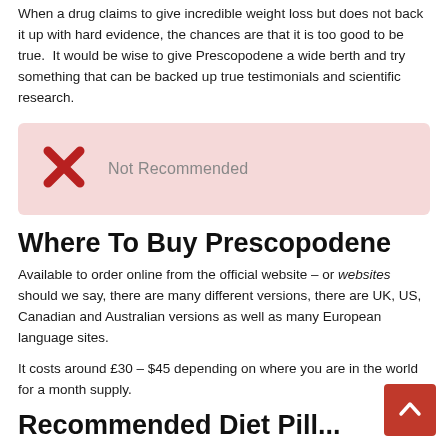When a drug claims to give incredible weight loss but does not back it up with hard evidence, the chances are that it is too good to be true.  It would be wise to give Prescopodene a wide berth and try something that can be backed up true testimonials and scientific research.
[Figure (infographic): Pink/rose-colored box with a red X icon on the left and the text 'Not Recommended' in gray on the right.]
Where To Buy Prescopodene
Available to order online from the official website – or websites should we say, there are many different versions, there are UK, US, Canadian and Australian versions as well as many European language sites.
It costs around £30 – $45 depending on where you are in the world for a month supply.
Recommended Diet Pill...